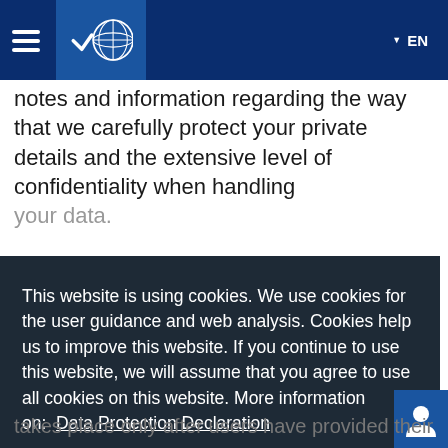[Figure (screenshot): Navigation bar with hamburger menu, globe/world icon, and EN language selector on blue background]
notes and information regarding the way that we carefully protect your private details and the extensive level of confidentiality when handling your data.
This website is using cookies. We use cookies for the user guidance and web analysis. Cookies help us to improve this website. If you continue to use this website, we will assume that you agree to use all cookies on this website. More information on: Data Protection Declaration
I agree
takes place only after users have provided their